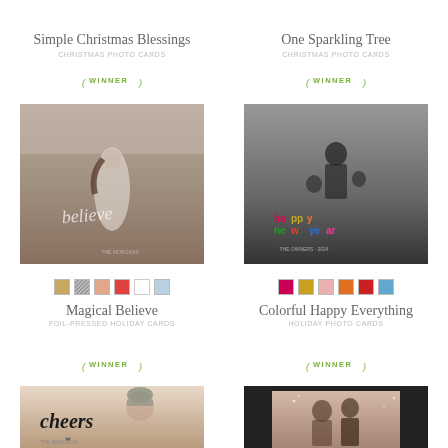Simple Christmas Blessings
CHRISTMAS PHOTO CARDS
[Figure (illustration): Green laurel WINNER badge]
[Figure (photo): Girl on beach with 'Believe' script overlay - Magical Believe card]
Magical Believe
FOIL-PRESSED HOLIDAY CARDS
[Figure (illustration): Green laurel WINNER badge]
One Sparkling Tree
CHRISTMAS PHOTO CARDS
[Figure (illustration): Green laurel WINNER badge]
[Figure (photo): Family portrait in black and white with colorful Happy New Year text overlay]
Colorful Happy Everything
HOLIDAY PHOTO CARDS
[Figure (illustration): Green laurel WINNER badge]
[Figure (photo): Cheers holiday card with person wearing knit hat]
[Figure (photo): Framed photo card with couple on dark background]